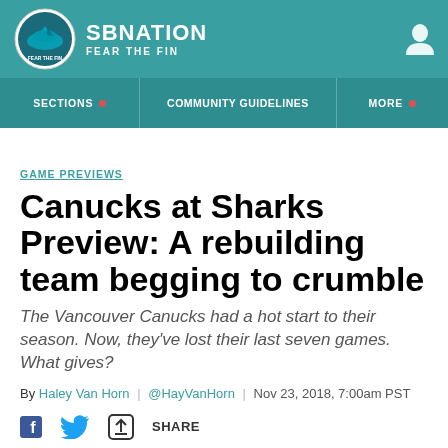SBNation — FEAR THE FIN
SECTIONS | COMMUNITY GUIDELINES | MORE
GAME PREVIEWS
Canucks at Sharks Preview: A rebuilding team begging to crumble
The Vancouver Canucks had a hot start to their season. Now, they've lost their last seven games. What gives?
By Haley Van Horn | @HayVanHorn | Nov 23, 2018, 7:00am PST
SHARE